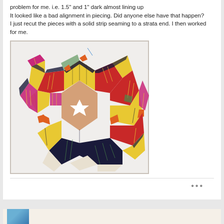problem for me. i.e. 1.5" and 1" dark almost lining up
It looked like a bad alignment in piecing. Did anyone else have that happen?
I just recut the pieces with a solid strip seaming to a strata end. I then worked for me.
[Figure (photo): A colorful kaleidoscope-style quilt block in progress, showing a star pattern made from striped fabric pieces in yellow, magenta/pink, dark navy/black, and green, arranged on a white background. An orange star-shaped button is visible at the center and sides. The quilt has a hexagonal overall shape.]